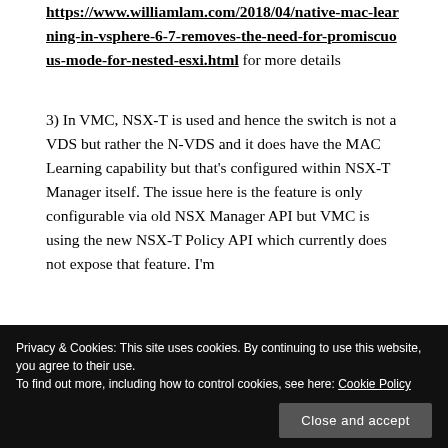https://www.williamlam.com/2018/04/native-mac-learning-in-vsphere-6-7-removes-the-need-for-promiscuous-mode-for-nested-esxi.html for more details
3) In VMC, NSX-T is used and hence the switch is not a VDS but rather the N-VDS and it does have the MAC Learning capability but that's configured within NSX-T Manager itself. The issue here is the feature is only configurable via old NSX Manager API but VMC is using the new NSX-T Policy API which currently does not expose that feature. I'm
Privacy & Cookies: This site uses cookies. By continuing to use this website, you agree to their use.
To find out more, including how to control cookies, see here: Cookie Policy